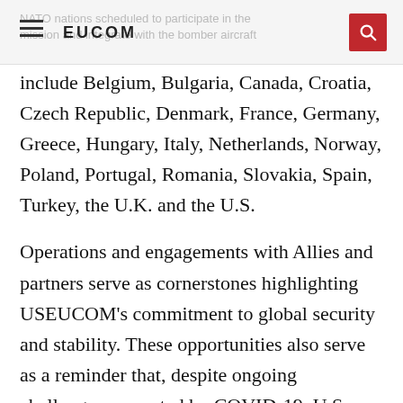EUCOM
NATO nations scheduled to participate in the mission and integrate with the bomber aircraft include Belgium, Bulgaria, Canada, Croatia, Czech Republic, Denmark, France, Germany, Greece, Hungary, Italy, Netherlands, Norway, Poland, Portugal, Romania, Slovakia, Spain, Turkey, the U.K. and the U.S.
Operations and engagements with Allies and partners serve as cornerstones highlighting USEUCOM's commitment to global security and stability. These opportunities also serve as a reminder that, despite ongoing challenges presented by COVID-19, U.S. forces remain fully ready to